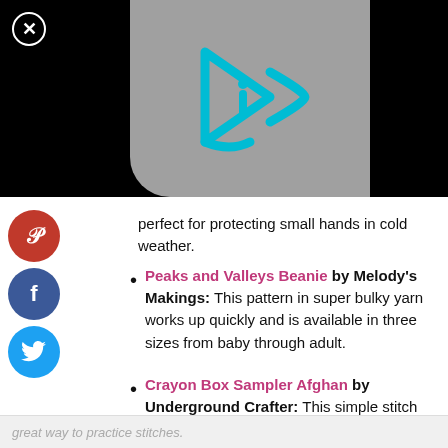[Figure (screenshot): Black video player area with gray thumbnail and cyan play button icon (triangle/arrow with 'i' inside). White circle X close button in top-left.]
perfect for protecting small hands in cold weather.
Peaks and Valleys Beanie by Melody's Makings: This pattern in super bulky yarn works up quickly and is available in three sizes from baby through adult.
Crayon Box Sampler Afghan by Underground Crafter: This simple stitch sampler baby blanket in vibrant colors is a
great way to practice stitches.